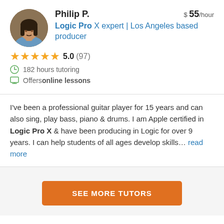[Figure (photo): Circular profile photo of Philip P., a man with long dark hair]
Philip P.
$ 55/hour
Logic Pro X expert | Los Angeles based producer
5.0 (97)
182 hours tutoring
Offers online lessons
I've been a professional guitar player for 15 years and can also sing, play bass, piano & drums. I am Apple certified in Logic Pro X & have been producing in Logic for over 9 years. I can help students of all ages develop skills… read more
SEE MORE TUTORS